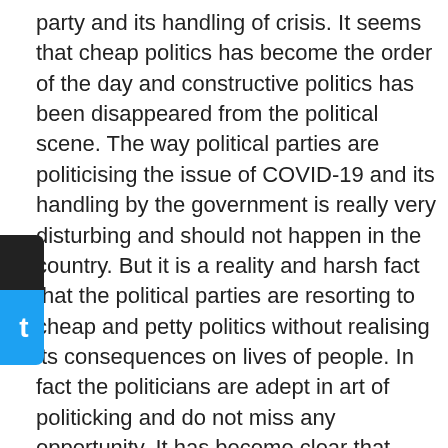party and its handling of crisis. It seems that cheap politics has become the order of the day and constructive politics has been disappeared from the political scene. The way political parties are politicising the issue of COVID-19 and its handling by the government is really very disturbing and should not happen in the country. But it is a reality and harsh fact that the political parties are resorting to cheap and petty politics without realising its consequences on lives of people. In fact the politicians are adept in art of politicking and do not miss any opportunity. It has become clear that these politicians have least regard for the lives of people and cheap politics is in their life and blood. The politicians of all hues consider cheap and petty politics as their prerogative and this brings disrepute to the field of politics. Government is very much cornered on the important issue of dealing with national and medical crisis of the coronavirus, which is claiming numerous precious lives with every passing day, but for opposition, it seems that politics